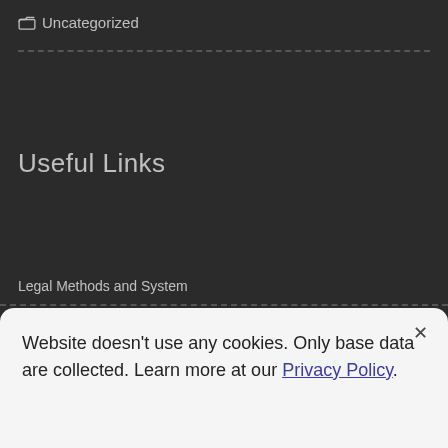Uncategorized
Useful Links
Legal Methods and System
Competition Law
Website doesn't use any cookies. Only base data are collected. Learn more at our Privacy Policy.